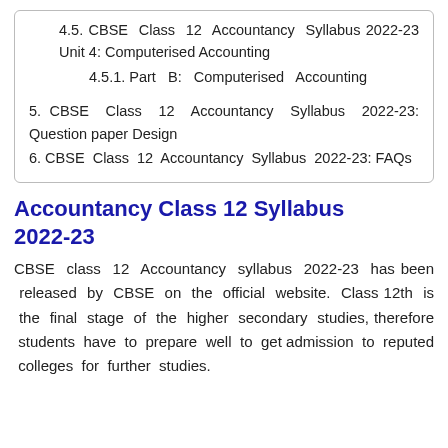4.5. CBSE Class 12 Accountancy Syllabus 2022-23 Unit 4: Computerised Accounting
4.5.1. Part B: Computerised Accounting
5. CBSE Class 12 Accountancy Syllabus 2022-23: Question paper Design
6. CBSE Class 12 Accountancy Syllabus 2022-23: FAQs
Accountancy Class 12 Syllabus 2022-23
CBSE class 12 Accountancy syllabus 2022-23 has been released by CBSE on the official website. Class 12th is the final stage of the higher secondary studies, therefore students have to prepare well to get admission to reputed colleges for further studies.